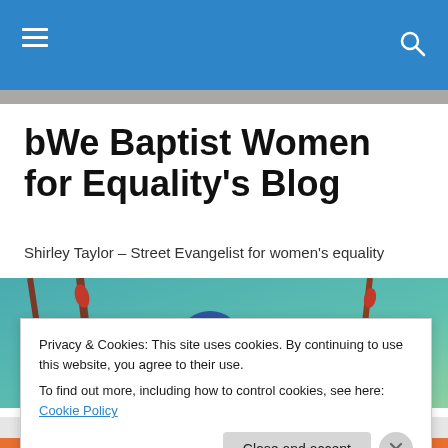bWe Baptist Women for Equality's Blog
Shirley Taylor – Street Evangelist for women's equality
[Figure (photo): A blue tit bird perched on a branch with red buds, teal/green background]
Privacy & Cookies: This site uses cookies. By continuing to use this website, you agree to their use.
To find out more, including how to control cookies, see here: Cookie Policy
Close and accept
Advertisements